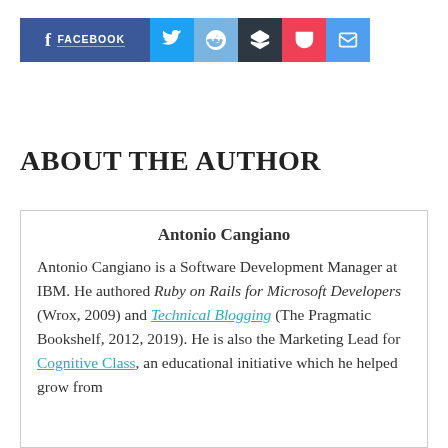[Figure (infographic): Social sharing buttons: Facebook, Twitter, Reddit, Buffer, Pocket, Email]
ABOUT THE AUTHOR
Antonio Cangiano

Antonio Cangiano is a Software Development Manager at IBM. He authored Ruby on Rails for Microsoft Developers (Wrox, 2009) and Technical Blogging (The Pragmatic Bookshelf, 2012, 2019). He is also the Marketing Lead for Cognitive Class, an educational initiative which he helped grow from